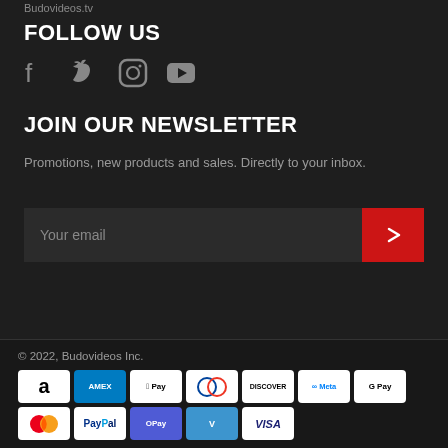Budovideos.tv
FOLLOW US
[Figure (illustration): Social media icons: Facebook, Twitter, Instagram, YouTube]
JOIN OUR NEWSLETTER
Promotions, new products and sales. Directly to your inbox.
[Figure (other): Email input field with red submit arrow button]
© 2022, Budovideos Inc.
[Figure (other): Payment method icons: Amazon, Amex, Apple Pay, Diners, Discover, Meta, Google Pay, Mastercard, PayPal, OPay, Venmo, Visa]